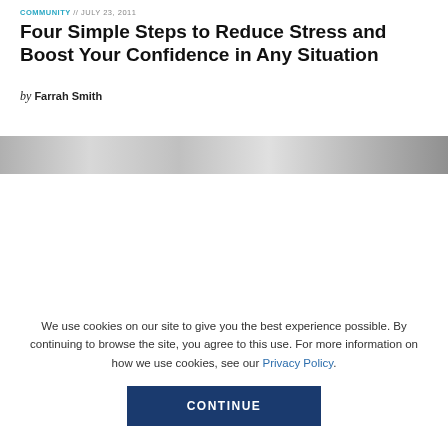COMMUNITY // July 23, 2011
Four Simple Steps to Reduce Stress and Boost Your Confidence in Any Situation
by Farrah Smith
[Figure (photo): Blurred grayscale image strip, partial view of a photo]
We use cookies on our site to give you the best experience possible. By continuing to browse the site, you agree to this use. For more information on how we use cookies, see our Privacy Policy.
CONTINUE